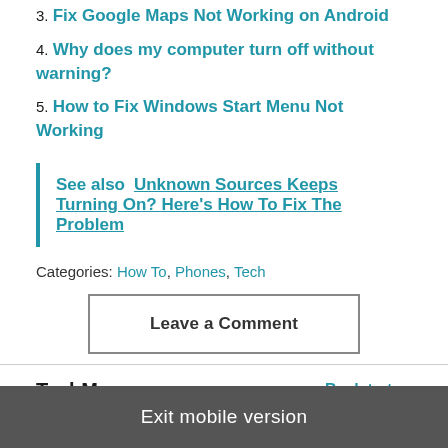3. Fix Google Maps Not Working on Android
4. Why does my computer turn off without warning?
5. How to Fix Windows Start Menu Not Working
See also  Unknown Sources Keeps Turning On? Here's How To Fix The Problem
Categories: How To, Phones, Tech
Leave a Comment
TechMaze   Back to top
Exit mobile version